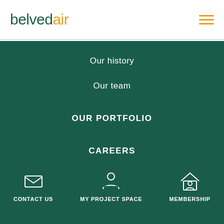[Figure (logo): Belvedair logo — 'belved' in dark green, 'air' in orange/amber]
[Figure (other): Hamburger menu icon — three horizontal orange lines]
Our history
Our team
OUR PORTFOLIO
CAREERS
[Figure (other): Envelope icon for CONTACT US]
CONTACT US
[Figure (other): Person/user icon for MY PROJECT SPACE]
MY PROJECT SPACE
[Figure (other): House/membership icon for MEMBERSHIP]
MEMBERSHIP